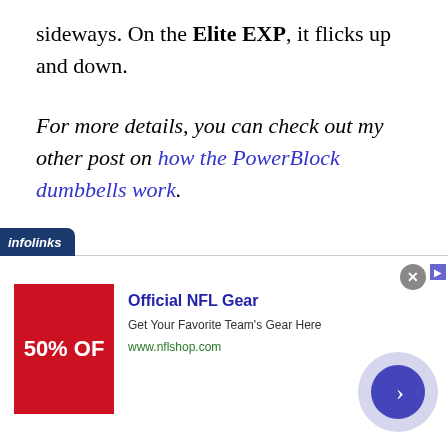sideways. On the Elite EXP, it flicks up and down.
For more details, you can check out my other post on how the PowerBlock dumbbells work.
[Figure (infographic): Infolinks advertisement banner showing Official NFL Gear ad with red image showing '50% OF' text and NFL shop details, with navigation arrow button]